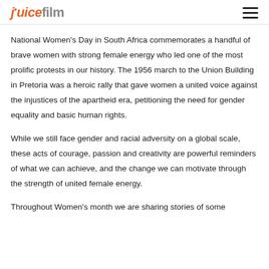juicefilm
National Women’s Day in South Africa commemorates a handful of brave women with strong female energy who led one of the most prolific protests in our history. The 1956 march to the Union Building in Pretoria was a heroic rally that gave women a united voice against the injustices of the apartheid era, petitioning the need for gender equality and basic human rights.
While we still face gender and racial adversity on a global scale, these acts of courage, passion and creativity are powerful reminders of what we can achieve, and the change we can motivate through the strength of united female energy.
Throughout Women’s month we are sharing stories of some